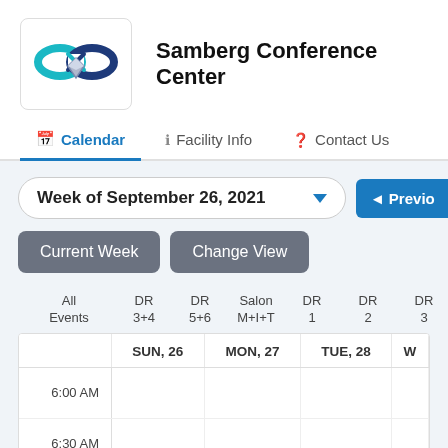[Figure (logo): Infinity loop / interlinked circles logo in teal and dark blue with a diamond/shield shape overlay]
Samberg Conference Center
Calendar | Facility Info | Contact Us
Week of September 26, 2021
◄ Previous
Current Week
Change View
|  | SUN, 26 | MON, 27 | TUE, 28 | W... |
| --- | --- | --- | --- | --- |
| 6:00 AM |  |  |  |  |
| 6:30 AM |  |  |  |  |